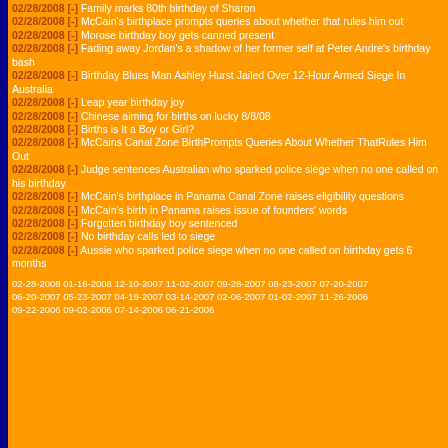02/28/2008 [-] Family marks 80th birthday of Sharon
02/28/2008 [-] McCain's birthplace prompts queries about whether that rules him out
02/28/2008 [-] Morose birthday boy gets canned present
02/28/2008 [-] Fading away Jordan's a shadow of her former self at Peter Andre's birthday bash
02/28/2008 [-] Birthday Blues Man Ashley Hurst Jailed Over 12-Hour Armed Siege In Australia
02/28/2008 [-] Leap year birthday joy
02/28/2008 [-] Chinese aiming for births on lucky 8/8/08
02/28/2008 [-] Births is It a Boy or Girl?
02/28/2008 [-] McCains Canal Zone BirthPrompts Queries About Whether ThatRules Him Out
02/28/2008 [-] Judge sentences Australian who sparked police siege when no one called on his birthday
02/28/2008 [-] McCain's birthplace in Panama Canal Zone raises eligibility questions
02/28/2008 [-] McCain's birth in Panama raises issue of founders' words
02/28/2008 [-] Forgotten birthday boy sentenced
02/28/2008 [-] No birthday calls led to siege
02/28/2008 [-] Aussie who sparked police siege when no one called on birthday gets 6 months
02-28-2008 01-16-2008 12-10-2007 11-02-2007 09-28-2007 08-23-2007 07-20-2007 06-20-2007 05-23-2007 04-19-2007 03-14-2007 02-06-2007 01-02-2007 11-26-2006 09-22-2006 09-02-2006 07-14-2006 06-21-2006